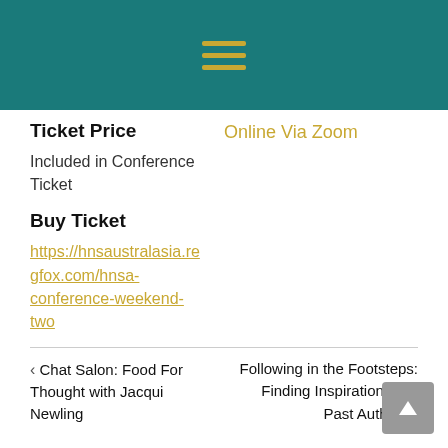[Figure (other): Teal header bar with a golden/olive hamburger menu icon (three horizontal lines)]
Ticket Price
Online Via Zoom
Included in Conference Ticket
Buy Ticket
https://hnsaustralasia.regfox.com/hnsa-conference-weekend-two
< Chat Salon: Food For Thought with Jacqui Newling   Following in the Footsteps: Finding Inspiration from Past Authors >